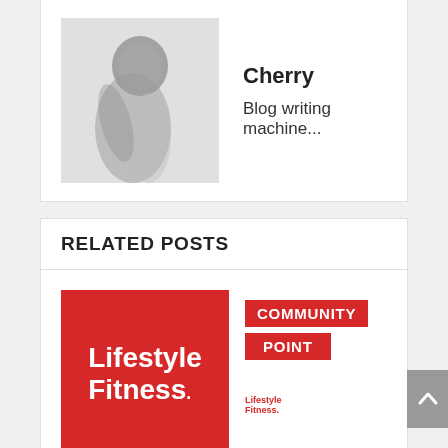[Figure (photo): Black and white photo of a person, used as author avatar for Cherry]
Cherry
Blog writing machine...
RELATED POSTS
[Figure (logo): Lifestyle Fitness logo — white text on red square background]
[Figure (logo): Community Point logo — red boxes with white text, small Lifestyle Fitness logo below]